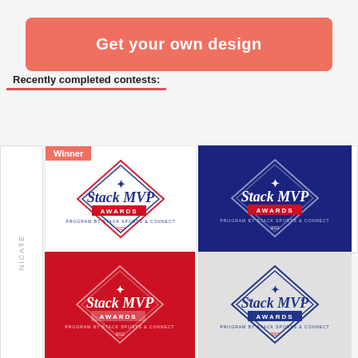[Figure (illustration): Orange-red 'Get your own design' call-to-action button]
Recently completed contests:
[Figure (illustration): Grid of 4 Stack MVP Awards logo designs in white, navy, red, and light gray backgrounds, with a Winner badge on the first (white background) design. Left edge shows partial previous card.]